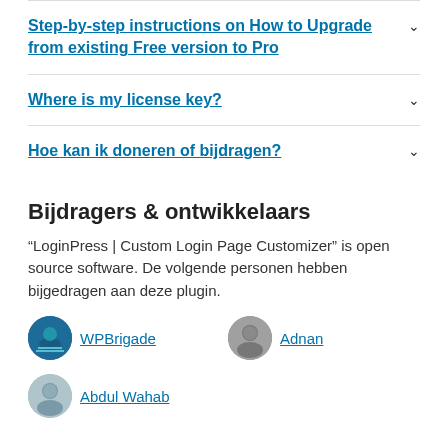Step-by-step instructions on How to Upgrade from existing Free version to Pro
Where is my license key?
Hoe kan ik doneren of bijdragen?
Bijdragers & ontwikkelaars
“LoginPress | Custom Login Page Customizer” is open source software. De volgende personen hebben bijgedragen aan deze plugin.
WPBrigade
Adnan
Abdul Wahab